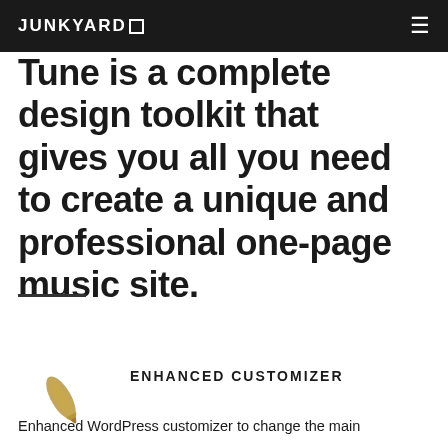JUNKYARD ☐  ≡
Tune is a complete design toolkit that gives you all you need to create a unique and professional one-page music site.
[Figure (illustration): A horizontal dark line divider]
[Figure (illustration): A golden/olive pen or quill icon]
ENHANCED CUSTOMIZER
Enhanced WordPress customizer to change the main